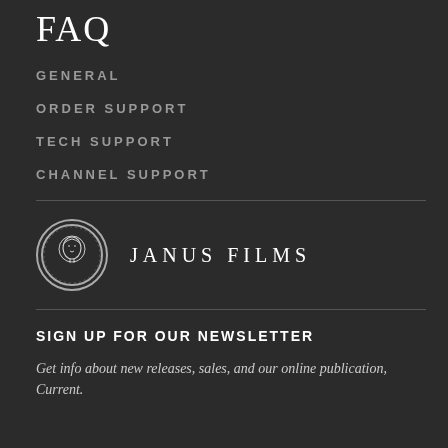FAQ
GENERAL
ORDER SUPPORT
TECH SUPPORT
CHANNEL SUPPORT
[Figure (logo): Janus Films circular logo with classical face illustration and the text JANUS FILMS]
SIGN UP FOR OUR NEWSLETTER
Get info about new releases, sales, and our online publication, Current.